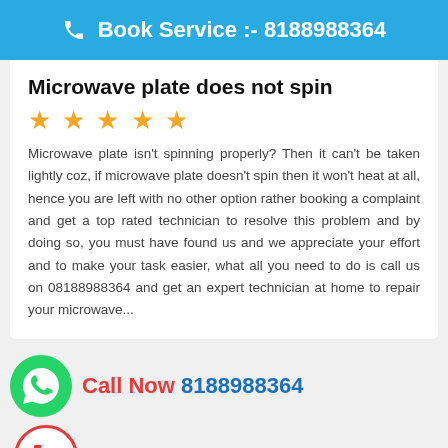Book Service :- 8188988364
Microwave plate does not spin
[Figure (infographic): Five gold star rating icons]
Microwave plate isn't spinning properly? Then it can't be taken lightly coz, if microwave plate doesn't spin then it won't heat at all, hence you are left with no other option rather booking a complaint and get a top rated technician to resolve this problem and by doing so, you must have found us and we appreciate your effort and to make your task easier, what all you need to do is call us on 08188988364 and get an expert technician at home to repair your microwave...
[Figure (logo): WhatsApp green phone icon]
Call Now 8188988364
[Figure (logo): Red phone icon inside a red circle border]